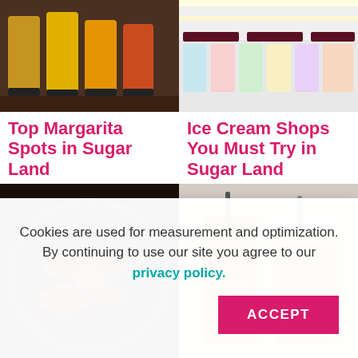[Figure (photo): Colorful cocktail/juice drinks in glasses on a dark surface]
[Figure (photo): Ice cream display case with tubs and illuminated signage]
Top Margarita Spots in Sugar Land
Ice Cream Shops You Must Try in Sugar Land
[Figure (photo): Meat cooking on a round Korean BBQ grill]
[Figure (photo): Two iced drinks in branded cups with boba/tea]
Cookies are used for measurement and optimization. By continuing to use our site you agree to our privacy policy.